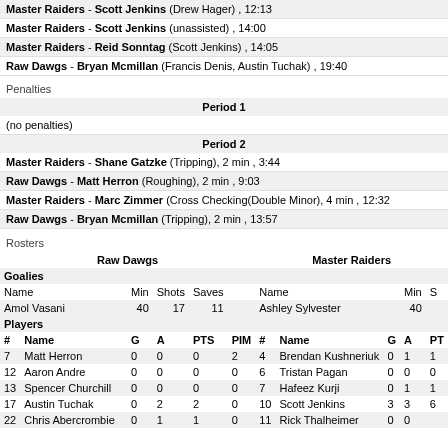Master Raiders - Scott Jenkins (Drew Hager) , 12:13
Master Raiders - Scott Jenkins (unassisted) , 14:00
Master Raiders - Reid Sonntag (Scott Jenkins) , 14:05
Raw Dawgs - Bryan Mcmillan (Francis Denis, Austin Tuchak) , 19:40
Penalties
Period 1
(no penalties)
Period 2
Master Raiders - Shane Gatzke (Tripping), 2 min , 3:44
Raw Dawgs - Matt Herron (Roughing), 2 min , 9:03
Master Raiders - Marc Zimmer (Cross Checking(Double Minor), 4 min , 12:32
Raw Dawgs - Bryan Mcmillan (Tripping), 2 min , 13:57
Rosters
| # | Name | G | A | PTS | PIM | GWG | # | Name | G | A | PT |
| --- | --- | --- | --- | --- | --- | --- | --- | --- | --- | --- | --- |
| 7 | Matt Herron | 0 | 0 | 0 | 2 | 0 | 4 | Brendan Kushneriuk | 0 | 1 | 1 |
| 12 | Aaron Andre | 0 | 0 | 0 | 0 | 0 | 6 | Tristan Pagan | 0 | 0 | 0 |
| 13 | Spencer Churchill | 0 | 0 | 0 | 0 | 0 | 7 | Hafeez Kurji | 0 | 1 | 1 |
| 17 | Austin Tuchak | 0 | 2 | 2 | 0 | 0 | 10 | Scott Jenkins | 3 | 3 | 6 |
| 22 | Chris Abercrombie | 0 | 1 | 1 | 0 | 0 | 11 | Rick Thalheimer | 0 | 0 | 0 |